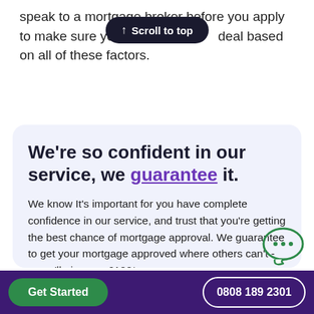speak to a mortgage broker before you apply to make sure you get the best deal based on all of these factors.
[Figure (other): Scroll to top button overlay (dark pill-shaped button with upward arrow and text 'Scroll to top')]
We're so confident in our service, we guarantee it.
We know It's important for you have complete confidence in our service, and trust that you're getting the best chance of mortgage approval. We guarantee to get your mortgage approved where others can't - or we'll give you £100*
[Figure (illustration): Small speech bubble icon with three dots (chat indicator)]
Get Started
0808 189 2301